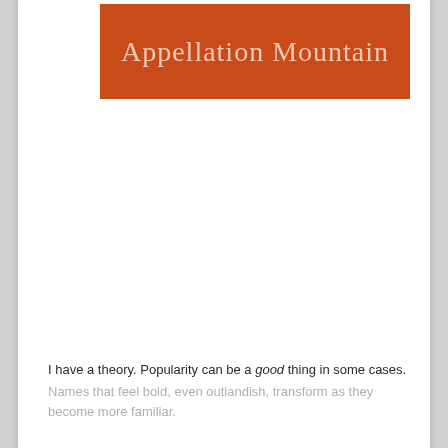[Figure (logo): Appellation Mountain logo — burnt orange/red rectangle with handwritten-style white text reading 'Appellation Mountain']
I have a theory. Popularity can be a good thing in some cases.
Names that feel bold, even outlandish, transform as they become more familiar.